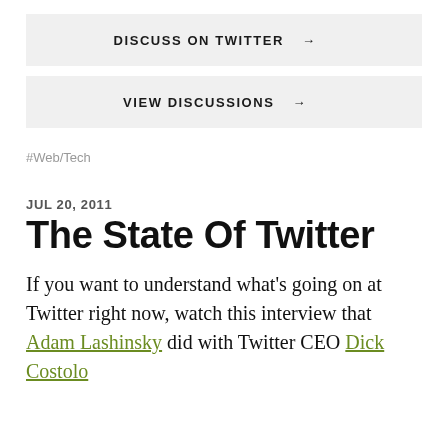DISCUSS ON TWITTER →
VIEW DISCUSSIONS →
#Web/Tech
JUL 20, 2011
The State Of Twitter
If you want to understand what's going on at Twitter right now, watch this interview that Adam Lashinsky did with Twitter CEO Dick Costolo